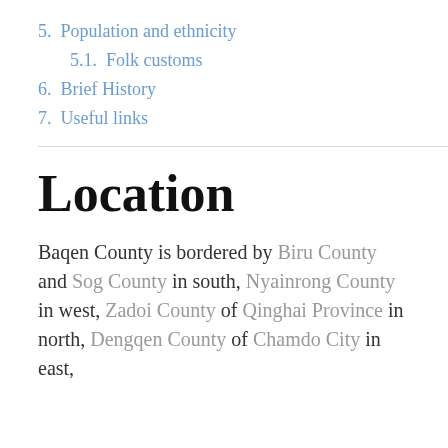5.  Population and ethnicity
5.1.  Folk customs
6.  Brief History
7.  Useful links
Location
Baqen County is bordered by Biru County and Sog County in south, Nyainrong County in west, Zadoi County of Qinghai Province in north, Dengqen County of Chamdo City in east,